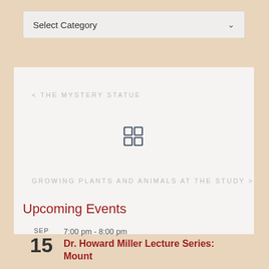Select Category
< THE MYSTERY STATUE
[Figure (other): Grid/apps icon with four squares]
GROWING PLANTS AND ANIMALS AT THE STUDY >
Upcoming Events
SEP
15
7:00 pm - 8:00 pm
Dr. Howard Miller Lecture Series: Mount